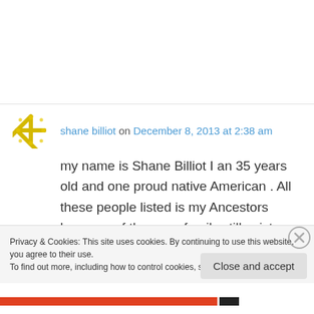shane billiot on December 8, 2013 at 2:38 am
my name is Shane Billiot I an 35 years old and one proud native American . All these people listed is my Ancestors because of them my family still exist today ,and was never forced to live out our lives on a reservation .I am very proud of them for never giving up ,because of
Privacy & Cookies: This site uses cookies. By continuing to use this website, you agree to their use.
To find out more, including how to control cookies, see here: Cookie Policy